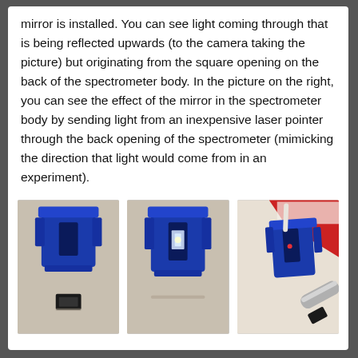mirror is installed. You can see light coming through that is being reflected upwards (to the camera taking the picture) but originating from the square opening on the back of the spectrometer body. In the picture on the right, you can see the effect of the mirror in the spectrometer body by sending light from an inexpensive laser pointer through the back opening of the spectrometer (mimicking the direction that light would come from in an experiment).
[Figure (photo): Three photos of a blue 3D-printed spectrometer body: left shows the body with a mirror chip below it, center shows the body with mirror installed (light visible), right shows the body with a laser pointer demonstrating light path through the back opening against a red and white background.]